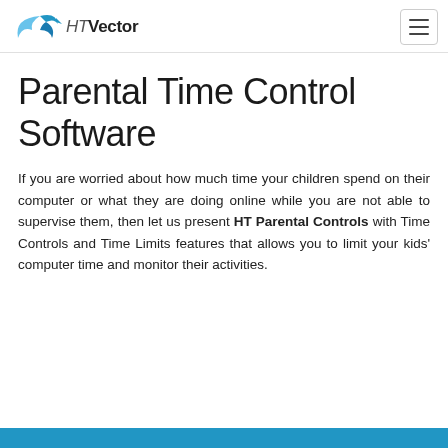HT Vector
Parental Time Control Software
If you are worried about how much time your children spend on their computer or what they are doing online while you are not able to supervise them, then let us present HT Parental Controls with Time Controls and Time Limits features that allows you to limit your kids' computer time and monitor their activities.